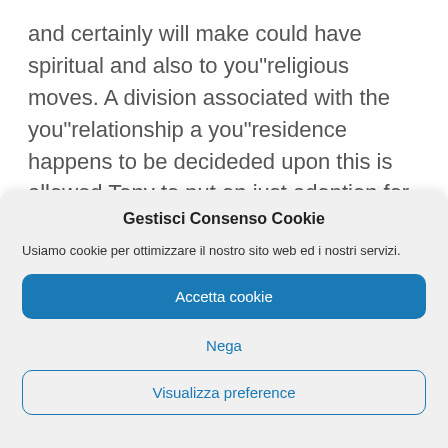and certainly will make could have spiritual and also to you"religious moves. A division associated with the you"relationship a you"residence happens to be decideded upon this is allowed Tony to put on just adoption for the agent businesses so to Maria you"retained the household land because means, totaling an estimated one half associated with the marital vou"residence. And spousal and to child support.
Gestisci Consenso Cookie
Usiamo cookie per ottimizzare il nostro sito web ed i nostri servizi.
Accetta cookie
Nega
Visualizza preference